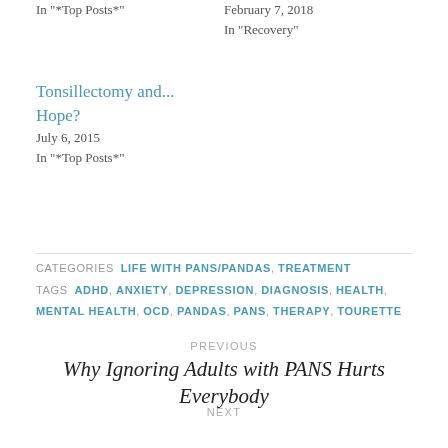In "*Top Posts*"
February 7, 2018
In "Recovery"
Tonsillectomy and... Hope?
July 6, 2015
In "*Top Posts*"
CATEGORIES  LIFE WITH PANS/PANDAS, TREATMENT
TAGS  ADHD, ANXIETY, DEPRESSION, DIAGNOSIS, HEALTH, MENTAL HEALTH, OCD, PANDAS, PANS, THERAPY, TOURETTE
PREVIOUS
Why Ignoring Adults with PANS Hurts Everybody
NEXT